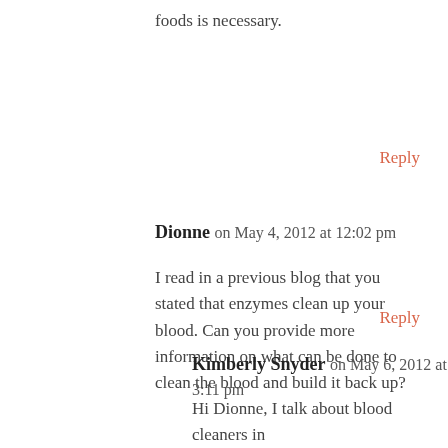foods is necessary.
Reply
Dionne on May 4, 2012 at 12:02 pm
I read in a previous blog that you stated that enzymes clean up your blood. Can you provide more information on what can be done to clean the blood and build it back up?
Reply
Kimberly Snyder on May 6, 2012 at 3:11 pm
Hi Dionne, I talk about blood cleaners in